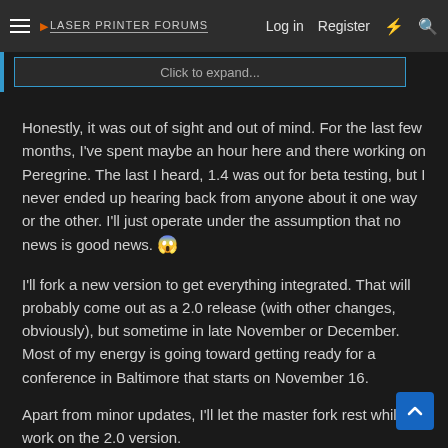Laser Printer Forums — Log in | Register
Click to expand...
Honestly, it was out of sight and out of mind. For the last few months, I've spent maybe an hour here and there working on Peregrine. The last I heard, 1.4 was out for beta testing, but I never ended up hearing back from anyone about it one way or the other. I'll just operate under the assumption that no news is good news. 😱
I'll fork a new version to get everything integrated. That will probably come out as a 2.0 release (with other changes, obviously), but sometime in late November or December. Most of my energy is going toward getting ready for a conference in Baltimore that starts on November 16.
Apart from minor updates, I'll let the master fork rest while I work on the 2.0 version.